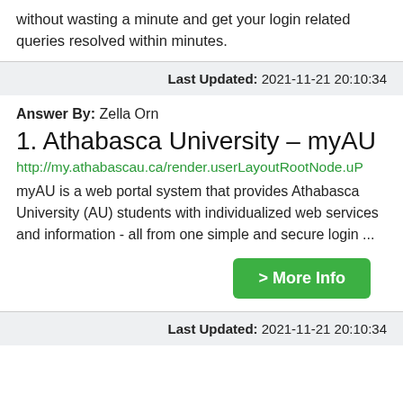without wasting a minute and get your login related queries resolved within minutes.
Last Updated: 2021-11-21 20:10:34
Answer By: Zella Orn
1. Athabasca University – myAU
http://my.athabascau.ca/render.userLayoutRootNode.uP
myAU is a web portal system that provides Athabasca University (AU) students with individualized web services and information - all from one simple and secure login ...
> More Info
Last Updated: 2021-11-21 20:10:34